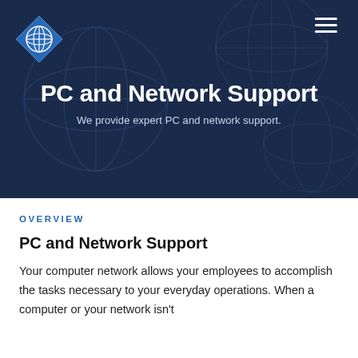[Figure (logo): Blue diamond-shaped logo with globe/network icon inside]
PC and Network Support
We provide expert PC and network support.
OVERVIEW
PC and Network Support
Your computer network allows your employees to accomplish the tasks necessary to your everyday operations. When a computer or your network isn't